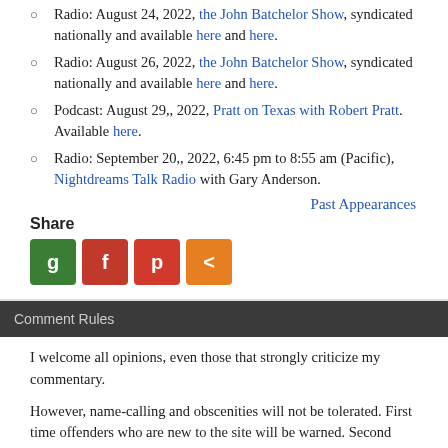Radio: August 24, 2022, the John Batchelor Show, syndicated nationally and available here and here.
Radio: August 26, 2022, the John Batchelor Show, syndicated nationally and available here and here.
Podcast: August 29,, 2022, Pratt on Texas with Robert Pratt. Available here.
Radio: September 20,, 2022, 6:45 pm to 8:55 am (Pacific), Nightdreams Talk Radio with Gary Anderson.
Past Appearances
Share
Comment Rules
I welcome all opinions, even those that strongly criticize my commentary.
However, name-calling and obscenities will not be tolerated. First time offenders who are new to the site will be warned. Second time offenders or first time offenders who have been on the site will be banned from further commenting.